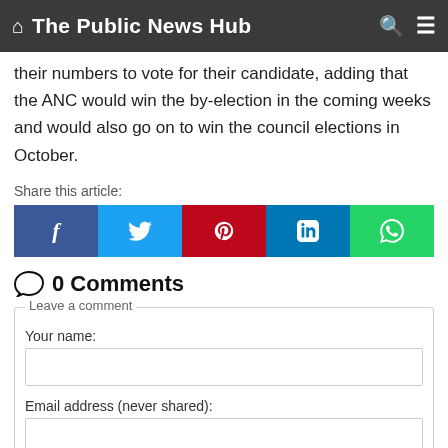The Public News Hub
their numbers to vote for their candidate, adding that the ANC would win the by-election in the coming weeks and would also go on to win the council elections in October.
Share this article:
[Figure (other): Social share buttons: Facebook, Twitter, Pinterest, LinkedIn, WhatsApp]
0 Comments
Leave a comment
Your name:
Email address (never shared):